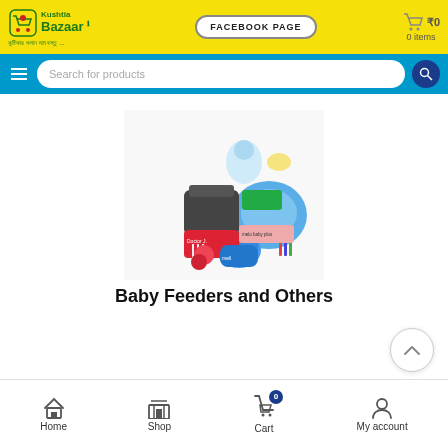[Figure (logo): Kushtia Bazaar logo with shopping cart icon, green text, and Bengali tagline]
FACEBOOK PAGE
0
0 items
Search for products
[Figure (photo): Collection of baby feeding products including bottles, cups, plates, and accessories]
Baby Feeders and Others
Home  Shop  Cart  My account